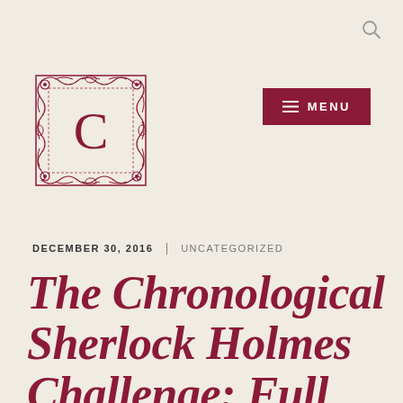[Figure (logo): Ornate square decorative border with floral/scroll design in dark red/crimson, containing a large serif letter C in the center]
[Figure (other): Menu button: dark red rectangle with three horizontal lines (hamburger icon) and text MENU in white]
DECEMBER 30, 2016  |  UNCATEGORIZED
The Chronological Sherlock Holmes Challenge: Full schedule